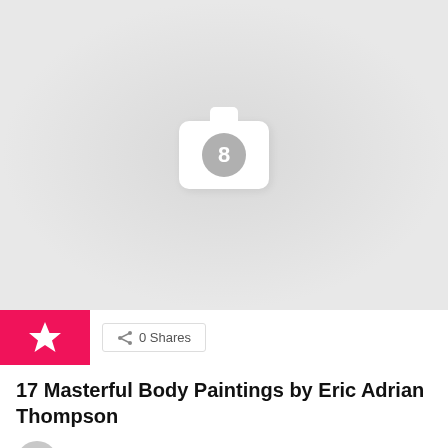[Figure (screenshot): Gray image placeholder with camera icon showing number 8]
[Figure (logo): Pink/magenta square with white star icon]
0 Shares
17 Masterful Body Paintings by Eric Adrian Thompson
by Admin
7 years ago
[Figure (screenshot): Gray image placeholder at bottom of page]